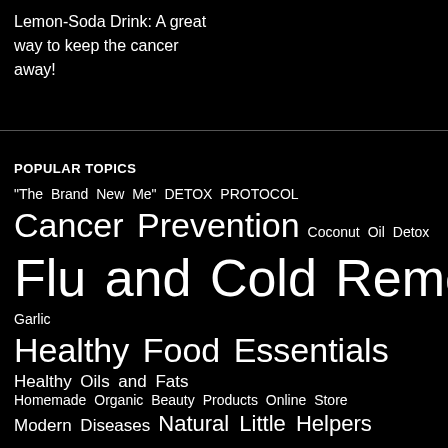Lemon-Soda Drink: A great way to keep the cancer away!
POPULAR TOPICS
"The Brand New Me" DETOX PROTOCOL  Cancer Prevention  Coconut Oil  Detox  Flu and Cold Remedies  Garlic  Healthy Food Essentials  Healthy Oils and Fats  Homemade Organic Beauty Products Online Store  Modern Diseases  Natural Little Helpers  Natural Remedies & Cures  Natural Skin Care  PowerFoods  Quick & Easy DIY